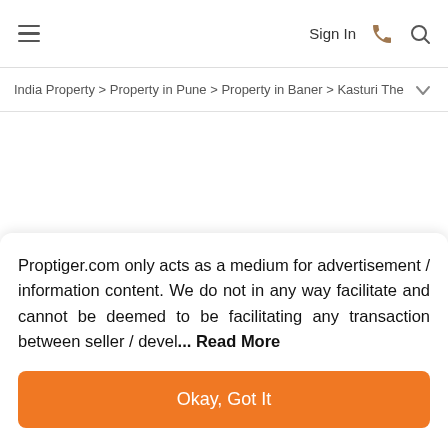≡   Sign In
India Property > Property in Pune > Property in Baner > Kasturi The ∨
Proptiger.com only acts as a medium for advertisement / information content. We do not in any way facilitate and cannot be deemed to be facilitating any transaction between seller / devel... Read More
Okay, Got It